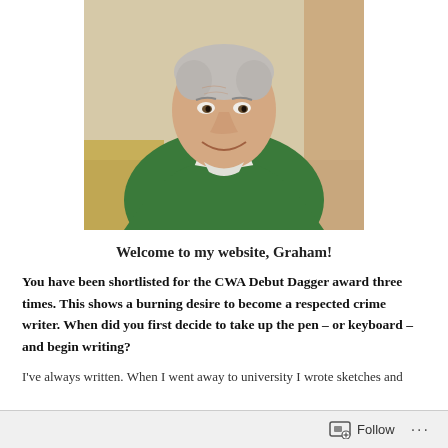[Figure (photo): A middle-aged man with short grey/white hair, wearing a green rugby-style shirt with white collar, smiling, seated indoors.]
Welcome to my website, Graham!
You have been shortlisted for the CWA Debut Dagger award three times. This shows a burning desire to become a respected crime writer. When did you first decide to take up the pen – or keyboard – and begin writing?
I've always written. When I went away to university I wrote sketches and